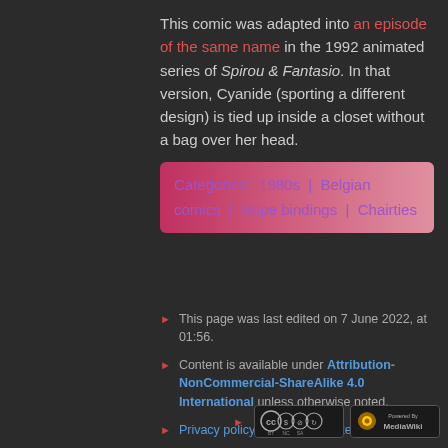This comic was adapted into an episode of the same name in the 1992 animated series of Spirou & Fantasio. In that version, Cyanide (sporting a different design) is tied up inside a closet without a bag over her head.
Categories: 1980s | Belgian comics | Rope bindings | Chairties
This page was last edited on 7 June 2022, at 01:56.
Content is available under Attribution-NonCommercial-ShareAlike 4.0 International unless otherwise noted.
Privacy policy · About Animated Damsel Wiki
Disclaimers
[Figure (logo): Creative Commons BY-NC-SA license badge and MediaWiki Powered By badge]